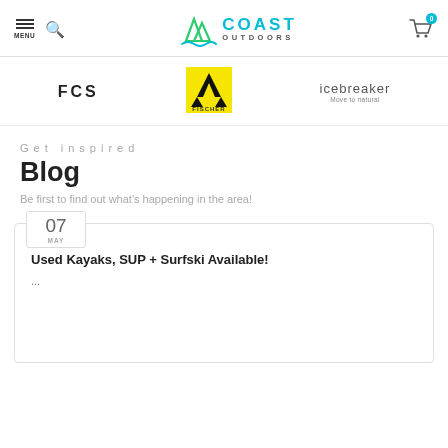MENU | Search | Coast Outdoors | Cart 0
[Figure (logo): Coast Outdoors logo with mountain/water SVG graphic and teal COAST OUTDOORS text]
[Figure (logo): FCS logo in black bold text]
[Figure (logo): Fischer logo - yellow square with black triangle symbol]
[Figure (logo): icebreaker logo - Move to natural]
Get inspired
Blog
Be first to find out what's happening in the area!
07 MAY
Used Kayaks, SUP + Surfski Available!
...